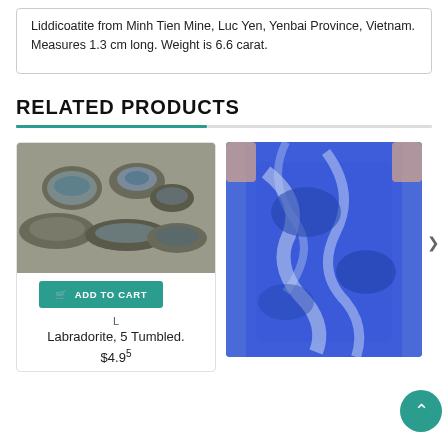Liddicoatite from Minh Tien Mine, Luc Yen, Yenbai Province, Vietnam. Measures 1.3 cm long. Weight is 6.6 carat.
RELATED PRODUCTS
[Figure (photo): Five tumbled labradorite stones showing dark gray-green color with blue schiller, arranged on white background.]
ADD TO CART
L
Labradorite, 5 Tumbled.
[Figure (photo): Close-up photo of a lapis lazuli stone showing vivid blue color with white calcite streaks, held between fingers.]